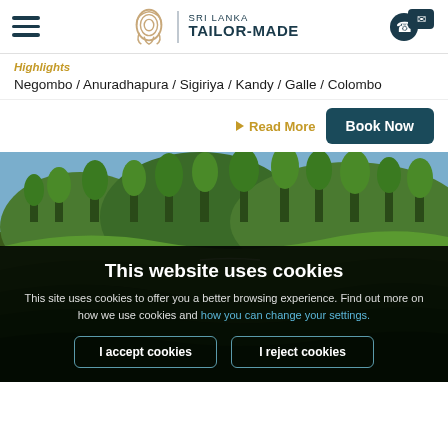Sri Lanka Tailor-made
Highlights
Negombo / Anuradhapura / Sigiriya / Kandy / Galle / Colombo
Read More
Book Now
[Figure (photo): Lush green tea plantation hillside landscape with trees, Sri Lanka]
This website uses cookies
This site uses cookies to offer you a better browsing experience. Find out more on how we use cookies and how you can change your settings.
I accept cookies
I reject cookies